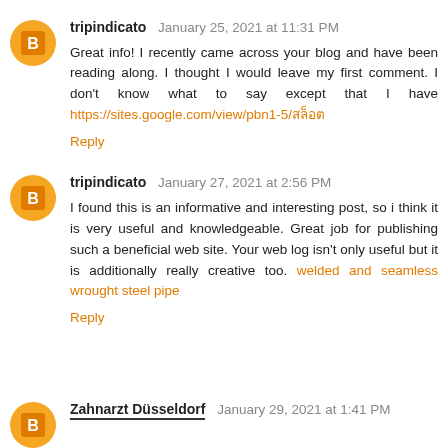tripindicato  January 25, 2021 at 11:31 PM
Great info! I recently came across your blog and have been reading along. I thought I would leave my first comment. I don't know what to say except that I have https://sites.google.com/view/pbn1-5/สล็อต
Reply
tripindicato  January 27, 2021 at 2:56 PM
I found this is an informative and interesting post, so i think it is very useful and knowledgeable. Great job for publishing such a beneficial web site. Your web log isn't only useful but it is additionally really creative too. welded and seamless wrought steel pipe
Reply
Zahnarzt Düsseldorf  January 29, 2021 at 1:41 PM